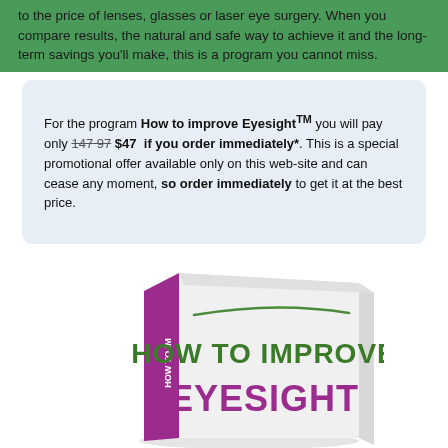to the price of lenses, glasses or laser eye surgery. When you compare results, the natural and safe way to achieve it and the long-term savings you'll make, this is a program you cannot miss.
For the program How to improve Eyesight™ you will pay only 147 97 $47  if you order immediately*. This is a special promotional offer available only on this web-site and can cease any moment, so order immediately to get it at the best price.
[Figure (illustration): A book with purple spine and white cover titled HOW TO IMPROVE EYESIGHT in large green and purple text, with a green curved line decoration near the top of the cover.]